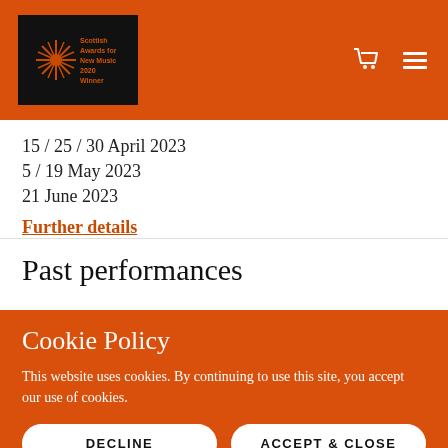Scottish Awards for New Music 2020 Winner [logo] with cart and menu icons
15 / 25 / 30 April 2023
5 / 19 May 2023
21 June 2023
Further details
Past performances
Cookie Policy
This website uses cookies. By continuing to use this site, you accept our use of cookies.
DECLINE
ACCEPT & CLOSE